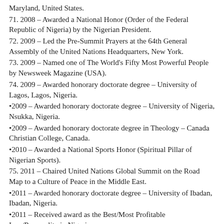Maryland, United States.
71. 2008 – Awarded a National Honor (Order of the Federal Republic of Nigeria) by the Nigerian President.
72. 2009 – Led the Pre-Summit Prayers at the 64th General Assembly of the United Nations Headquarters, New York.
73. 2009 – Named one of The World's Fifty Most Powerful People by Newsweek Magazine (USA).
74. 2009 – Awarded honorary doctorate degree – University of Lagos, Lagos, Nigeria.
•2009 – Awarded honorary doctorate degree – University of Nigeria, Nsukka, Nigeria.
•2009 – Awarded honorary doctorate degree in Theology – Canada Christian College, Canada.
•2010 – Awarded a National Sports Honor (Spiritual Pillar of Nigerian Sports).
75. 2011 – Chaired United Nations Global Summit on the Road Map to a Culture of Peace in the Middle East.
•2011 – Awarded honorary doctorate degree – University of Ibadan, Ibadan, Nigeria.
•2011 – Received award as the Best/Most Profitable Icon/Personality in Nigeria
•2014 – Awarded National Honour – (CON) Commander of the